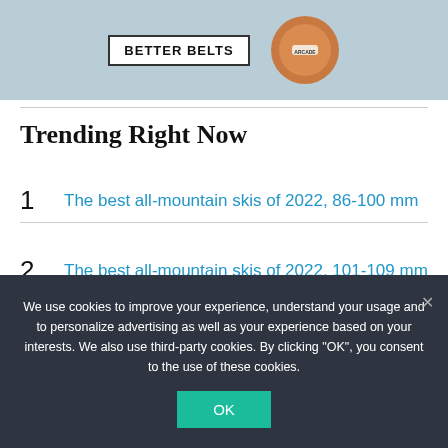[Figure (photo): Advertisement banner for 'Better Belts' (Arcade brand) showing a colorful belt buckle/accessory on a teal/blue background]
Trending Right Now
1  The best all-mountain skis of 2022, 86-100 mm
2  The best all-mountain skis of 2022, 101-109 mm
We use cookies to improve your experience, understand your usage and to personalize advertising as well as your experience based on your interests. We also use third-party cookies. By clicking "OK", you consent to the use of these cookies.